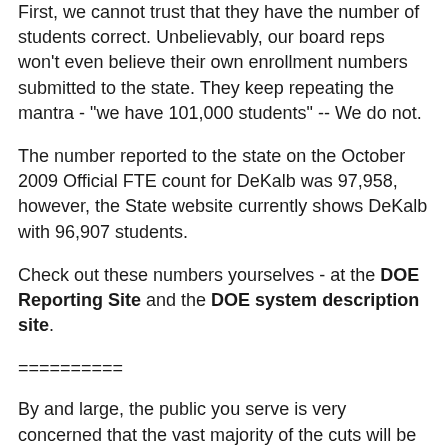First, we cannot trust that they have the number of students correct. Unbelievably, our board reps won't even believe their own enrollment numbers submitted to the state. They keep repeating the mantra - "we have 101,000 students" -- We do not.
The number reported to the state on the October 2009 Official FTE count for DeKalb was 97,958, however, the State website currently shows DeKalb with 96,907 students.
Check out these numbers yourselves - at the DOE Reporting Site and the DOE system description site.
==========
By and large, the public you serve is very concerned that the vast majority of the cuts will be made to the classroom. Teachers and others who have direct contact with students have given up enough. It is time to dig deeper, get out the